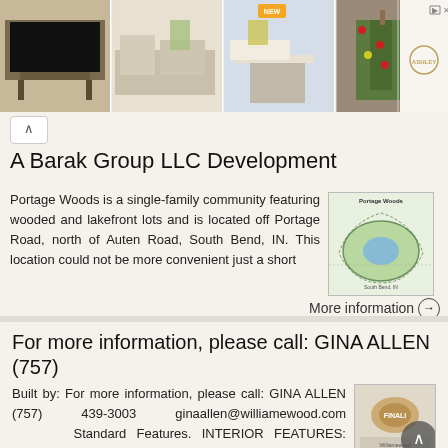[Figure (photo): Ashley Furniture advertisement banner with four furniture/room images and Ashley logo]
A Barak Group LLC Development
Portage Woods is a single-family community featuring wooded and lakefront lots and is located off Portage Road, north of Auten Road, South Bend, IN. This location could not be more convenient just a short
[Figure (map): Portage Woods community map thumbnail]
More information →
For more information, please call: GINA ALLEN (757)
Built by: For more information, please call: GINA ALLEN (757) 439-3003 ginaallen@williamewood.com Standard Features. INTERIOR FEATURES: Hardwood
[Figure (photo): Property thumbnail image with back-to-top button]